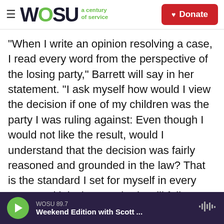WOSU a century of service | Donate
"When I write an opinion resolving a case, I read every word from the perspective of the losing party," Barrett will say in her statement. "I ask myself how would I view the decision if one of my children was the party I was ruling against: Even though I would not like the result, would I understand that the decision was fairly reasoned and grounded in the law? That is the standard I set for myself in every case, and it is the standard I will follow as long as I am a judge on any court."
Voting "very soon"
WOSU 89.7 | Weekend Edition with Scott ...